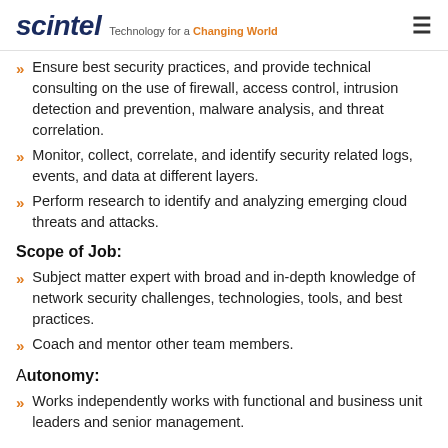scintel — Technology for a Changing World
Ensure best security practices, and provide technical consulting on the use of firewall, access control, intrusion detection and prevention, malware analysis, and threat correlation.
Monitor, collect, correlate, and identify security related logs, events, and data at different layers.
Perform research to identify and analyzing emerging cloud threats and attacks.
Scope of Job:
Subject matter expert with broad and in-depth knowledge of network security challenges, technologies, tools, and best practices.
Coach and mentor other team members.
Autonomy:
Works independently works with functional and business unit leaders and senior management.